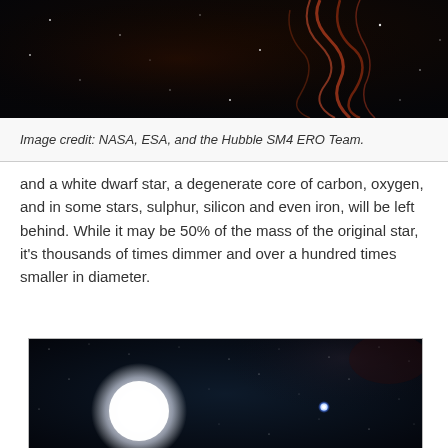[Figure (photo): Hubble Space Telescope image showing nebula filaments with reddish/orange gas structures against a dark star field background]
Image credit: NASA, ESA, and the Hubble SM4 ERO Team.
and a white dwarf star, a degenerate core of carbon, oxygen, and in some stars, sulphur, silicon and even iron, will be left behind. While it may be 50% of the mass of the original star, it's thousands of times dimmer and over a hundred times smaller in diameter.
[Figure (photo): Astronomical image showing a large bright white star (Sirius A) dominating the left portion and a small bright blue dot (Sirius B, a white dwarf) to the right, set against a dark star field with the Milky Way visible in the background]